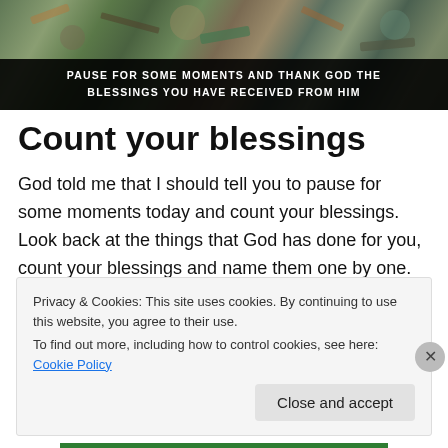[Figure (photo): Banner image showing scattered debris/rocks/garbage on ground with dark overlay band at bottom containing white bold text.]
Count your blessings
God told me that I should tell you to pause for some moments today and count your blessings. Look back at the things that God has done for you, count your blessings and name them one by one. Appreciate God for every item that you have received from Him. May I tell you this little
Privacy & Cookies: This site uses cookies. By continuing to use this website, you agree to their use.
To find out more, including how to control cookies, see here: Cookie Policy